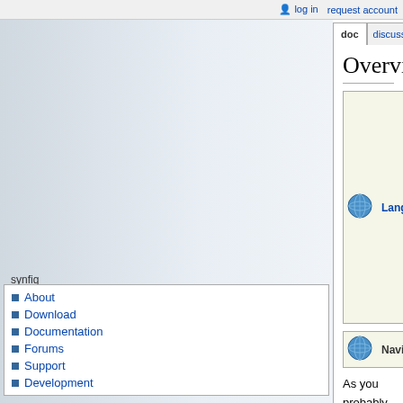log in  request account
doc  discussion  view source  history
Overview
|  | Language: | English • čeština • Deutsch • español • Indonesia • italiano • 日本語 • Nederlands • polski • português • srpski • ภาษาไทย |
| --- | --- | --- |
|  | Navigation: | Manual • >> |
| --- | --- | --- |
As you probably know, animation is the rapid display of a sequence of images in order to create an illusion of movement. Traditionally 2D animation is created by drawing each displayed image individually. Those images are called "frames" and thus such method is called "frame-by-frame animation". To create a good illusion of movement you need to draw many frames, that's why this method requires a lot of time and resources.
synfig
About
Download
Documentation
Forums
Support
Development
documentation
User
Developer
Writer
wiki
Recent Changes
Categories
Uncategorized Pages